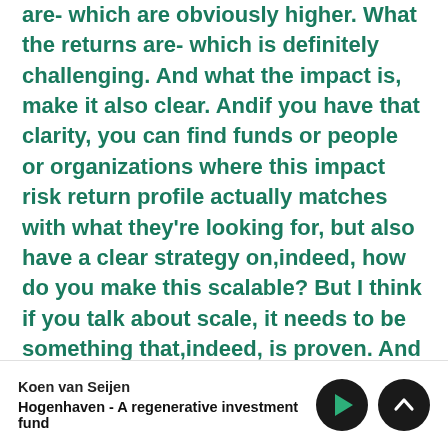are- which are obviously higher. What the returns are- which is definitely challenging. And what the impact is, make it also clear. Andif you have that clarity, you can find funds or people or organizations where this impact risk return profile actually matches with what they're looking for, but also have a clear strategy on,indeed, how do you make this scalable? But I think if you talk about scale, it needs to be something that,indeed, is proven. And then indeed, you're talking to say. I would say three to five years.
We also touched upon the interesting parallels between the regenerative agriculture space and the renewable energy industry. What we can learn from
Koen van Seijen
Hogenhaven - A regenerative investment fund